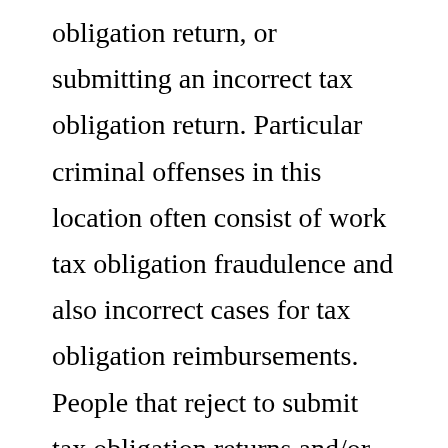obligation return, or submitting an incorrect tax obligation return. Particular criminal offenses in this location often consist of work tax obligation fraudulence and also incorrect cases for tax obligation reimbursements. People that reject to submit tax obligation returns and/or pay tax obligations as a difficulty to the constitutionality of the tax obligation system are likewise commonly examined with this program. A Florida pair, along with various other accomplices, submitted incorrect tax obligation returns as